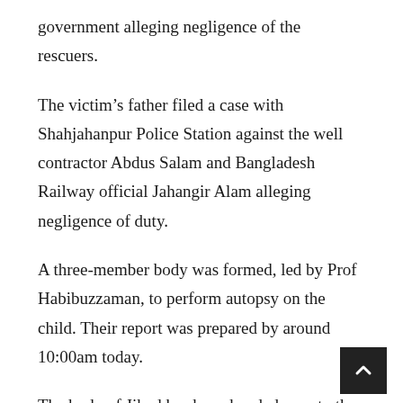government alleging negligence of the rescuers.
The victim’s father filed a case with Shahjahanpur Police Station against the well contractor Abdus Salam and Bangladesh Railway official Jahangir Alam alleging negligence of duty.
A three-member body was formed, led by Prof Habibuzzaman, to perform autopsy on the child. Their report was prepared by around 10:00am today.
The body of Jihad has been handed over to the relatives, as confirmed by the victim’s uncle Monju. Jihad will be buried in his ancestral home in Shariatpur, he said.